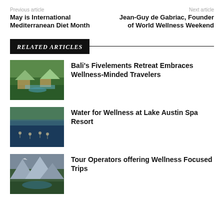Previous article
Next article
May is International Mediterranean Diet Month
Jean-Guy de Gabriac, Founder of World Wellness Weekend
RELATED ARTICLES
[Figure (photo): Bali resort with tropical garden, buildings and water features]
Bali’s Fivelements Retreat Embraces Wellness-Minded Travelers
[Figure (photo): People paddleboarding on a lake with green hills in background]
Water for Wellness at Lake Austin Spa Resort
[Figure (photo): Mountain lake with dramatic peaks and forested valley]
Tour Operators offering Wellness Focused Trips